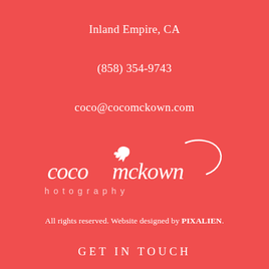Inland Empire, CA
(858) 354-9743
coco@cocomckown.com
[Figure (logo): Coco McKown Photography logo in white on red background — stylized script text 'coco mckown' with a bird silhouette, and 'photography' in spaced sans-serif below]
All rights reserved. Website designed by PIXALIEN.
GET IN TOUCH